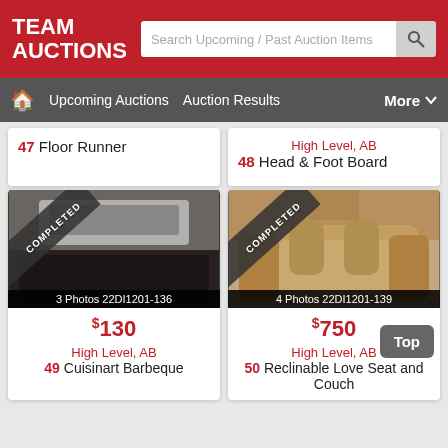TEAM AUCTIONS — Search Upcoming / Past Auction Items
Upcoming Auctions  Auction Results  More
47 Floor Runner
High Level, AB
48 Head & Foot Board
[Figure (photo): Cuisinart barbeque grill on a deck, COMPLETED ribbon overlay, 3 Photos 22DI1201-136]
$130
High Level, AB
49 Cuisinart Barbeque
[Figure (photo): Reclinable love seat and couch leather furniture with cat, COMPLETED ribbon overlay, 4 Photos 22DI1201-139]
$750
High Level, AB
50 Reclinable Love Seat and Couch